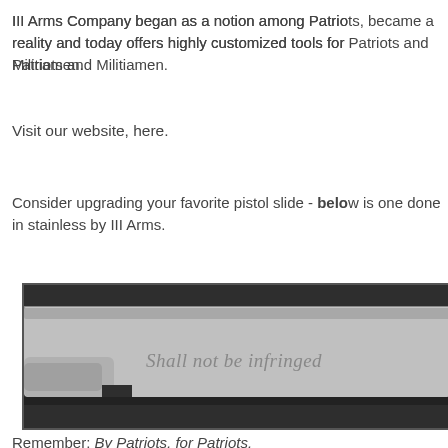III Arms Company began as a notion among Patriots, became a reality and today offers highly customized tools for Patriots and Militiamen.
Visit our website, here.
Consider upgrading your favorite pistol slide - below is one done in stainless by III Arms.
[Figure (photo): Close-up photo of a stainless steel pistol slide engraved with the text 'Shall not be infringed' in an italic script font, resting on a dark surface.]
Remember: By Patriots, for Patriots.